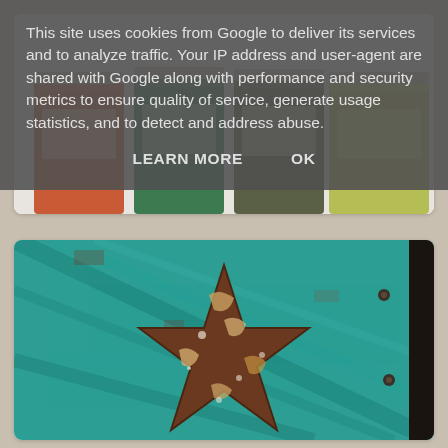[Figure (photo): Bottom portion of paint cans - orange, green, dark olive, and yellow-green colored cans visible from the side, partially cut off at top]
[Figure (photo): Rustic metal barn star decoration with peeling copper/brown paint, mounted on a distressed turquoise/teal painted wooden plank background with visible nails]
This site uses cookies from Google to deliver its services and to analyze traffic. Your IP address and user-agent are shared with Google along with performance and security metrics to ensure quality of service, generate usage statistics, and to detect and address abuse.
LEARN MORE    OK